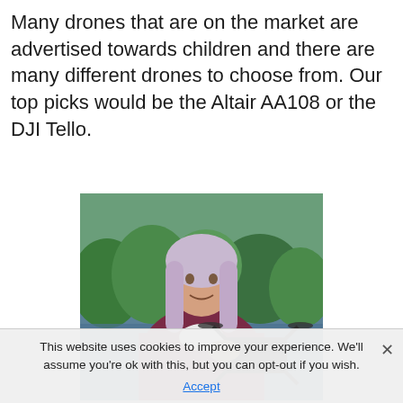Many drones that are on the market are advertised towards children and there are many different drones to choose from. Our top picks would be the Altair AA108 or the DJI Tello.
[Figure (photo): A young woman with long light purple/grey hair, wearing a maroon hoodie, smiling and holding a black quadcopter drone. She is standing outdoors near a body of water with green trees in the background.]
This website uses cookies to improve your experience. We'll assume you're ok with this, but you can opt-out if you wish. Accept